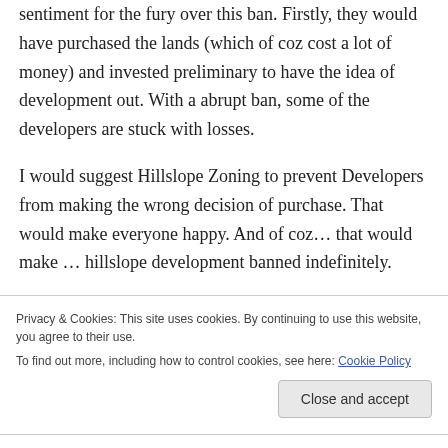sentiment for the fury over this ban. Firstly, they would have purchased the lands (which of coz cost a lot of money) and invested preliminary to have the idea of development out. With a abrupt ban, some of the developers are stuck with losses.
I would suggest Hillslope Zoning to prevent Developers from making the wrong decision of purchase. That would make everyone happy. And of coz… that would make … hillslope development banned indefinitely.
Privacy & Cookies: This site uses cookies. By continuing to use this website, you agree to their use.
To find out more, including how to control cookies, see here: Cookie Policy
Good Luck…..